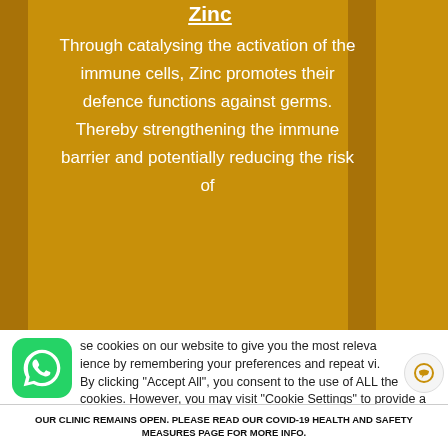Zinc
Through catalysing the activation of the immune cells, Zinc promotes their defence functions against germs. Thereby strengthening the immune barrier and potentially reducing the risk of
[Figure (screenshot): WhatsApp icon - green rounded square with white phone handset]
se cookies on our website to give you the most releva ience by remembering your preferences and repeat vi. By clicking “Accept All”, you consent to the use of ALL the cookies. However, you may visit “Cookie Settings” to provide a controlled consent.
Cookie Settings   Accept All
OUR CLINIC REMAINS OPEN. PLEASE READ OUR COVID-19 HEALTH AND SAFETY MEASURES PAGE FOR MORE INFO.